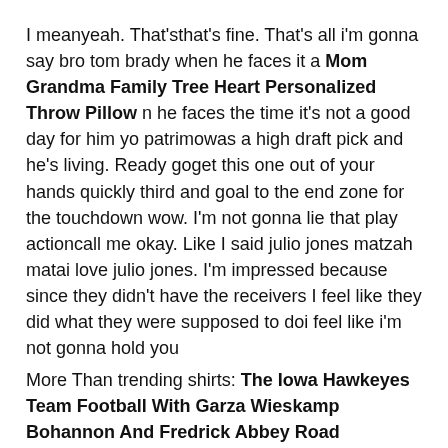I meanyeah. That'sthat's fine. That's all i'm gonna say bro tom brady when he faces it a Mom Grandma Family Tree Heart Personalized Throw Pillow n he faces the time it's not a good day for him yo patrimowas a high draft pick and he's living. Ready goget this one out of your hands quickly third and goal to the end zone for the touchdown wow. I'm not gonna lie that play actioncall me okay. Like I said julio jones matzah matai love julio jones. I'm impressed because since they didn't have the receivers I feel like they did what they were supposed to doi feel like i'm not gonna hold you
More Than trending shirts: The Iowa Hawkeyes Team Football With Garza Wieskamp Bohannon And Fredrick Abbey Road Signatures Shirt
This Season will Presents Who Love: Mom Grandma